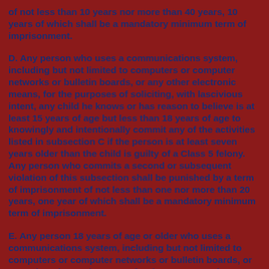of not less than 10 years nor more than 40 years, 10 years of which shall be a mandatory minimum term of imprisonment.
D. Any person who uses a communications system, including but not limited to computers or computer networks or bulletin boards, or any other electronic means, for the purposes of soliciting, with lascivious intent, any child he knows or has reason to believe is at least 15 years of age but less than 18 years of age to knowingly and intentionally commit any of the activities listed in subsection C if the person is at least seven years older than the child is guilty of a Class 5 felony. Any person who commits a second or subsequent violation of this subsection shall be punished by a term of imprisonment of not less than one nor more than 20 years, one year of which shall be a mandatory minimum term of imprisonment.
E. Any person 18 years of age or older who uses a communications system, including but not limited to computers or computer networks or bulletin boards, or any other electronic means, for the purposes of soliciting any person he knows or has reason to believe is a child less than